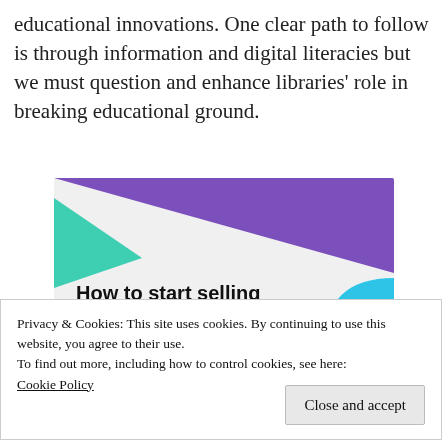educational innovations. One clear path to follow is through information and digital literacies but we must question and enhance libraries' role in breaking educational ground.
[Figure (illustration): Decorative banner image with purple and teal geometric triangles on a light grey background, with bold text reading 'How to start selling subscriptions online']
Privacy & Cookies: This site uses cookies. By continuing to use this website, you agree to their use.
To find out more, including how to control cookies, see here: Cookie Policy